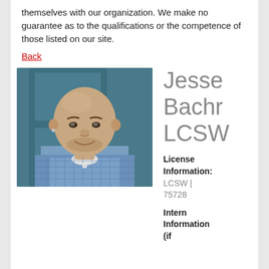themselves with our organization. We make no guarantee as to the qualifications or the competence of those listed on our site.
Back
[Figure (photo): Headshot photo of Jesse Bachr LCSW, a bald man smiling, wearing a blue and white checkered shirt, in front of a teal/dark blue door background.]
Jesse Bachr LCSW
License Information: LCSW | 75728
Intern Information (if